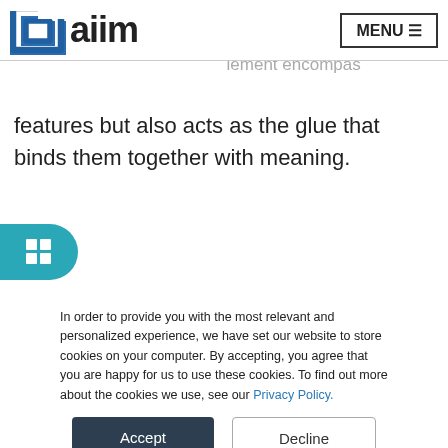aiim (logo with MENU button)
arate ECM solutions in themselves. Instead, they act as ... are to the ECM ar... lement encompas... features but also acts as the glue that binds them together with meaning.
[Figure (other): Teal rounded tab with grid icon on left side]
[Figure (photo): Teal/blue abstract image background]
In order to provide you with the most relevant and personalized experience, we have set our website to store cookies on your computer. By accepting, you agree that you are happy for us to use these cookies. To find out more about the cookies we use, see our Privacy Policy.
Accept
Decline